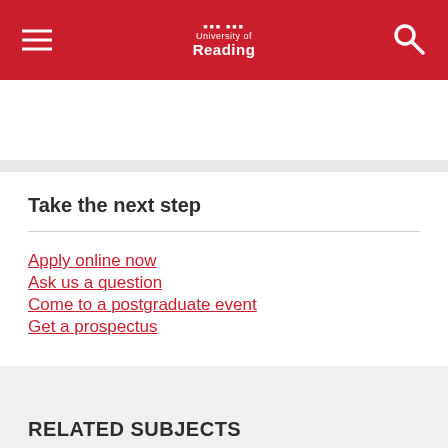[Figure (logo): University of Reading logo with hamburger menu and search icon on red header bar]
Take the next step
Apply online now
Ask us a question
Come to a postgraduate event
Get a prospectus
RELATED SUBJECTS